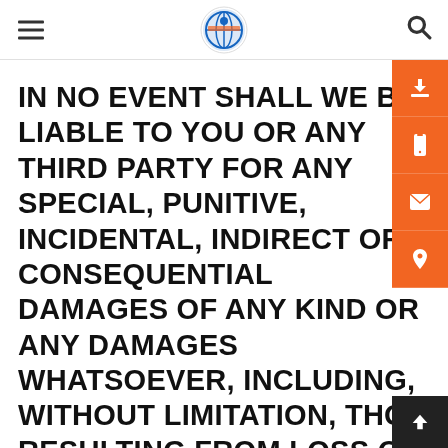IN NO EVENT SHALL WE BE LIABLE TO YOU OR ANY THIRD PARTY FOR ANY SPECIAL, PUNITIVE, INCIDENTAL, INDIRECT OR CONSEQUENTIAL DAMAGES OF ANY KIND OR ANY DAMAGES WHATSOEVER, INCLUDING, WITHOUT LIMITATION, THOSE RESULTING FROM LOSS OF USE, DATA OR PROFIT LOSS, WHETHER OR NOT WE HAVE BEEN ADVISED OF THE POSSIBILITY OF SUCH DAMAGES, AND ON ANY THEORY OF LIABILITY, ARISING OUT OF OR IN